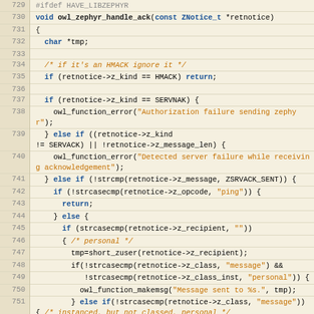[Figure (screenshot): Source code listing showing C function owl_zephyr_handle_ack with line numbers 729-753, displayed in a code editor with syntax highlighting. Background is light tan/cream, line numbers in darker tan column on left.]